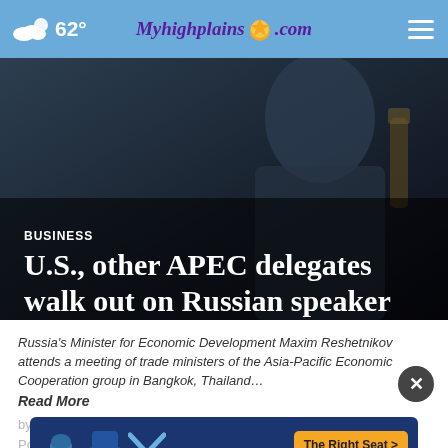62° Myhighplains.com
[Figure (photo): Dark background hero image showing a person in a suit at what appears to be a conference or meeting setting]
BUSINESS
U.S., other APEC delegates walk out on Russian speaker
Russia's Minister for Economic Development Maxim Reshetnikov attends a meeting of trade ministers of the Asia-Pacific Economic Cooperation group in Bangkok, Thailand…
Read More
by: GR
Posted
Updated